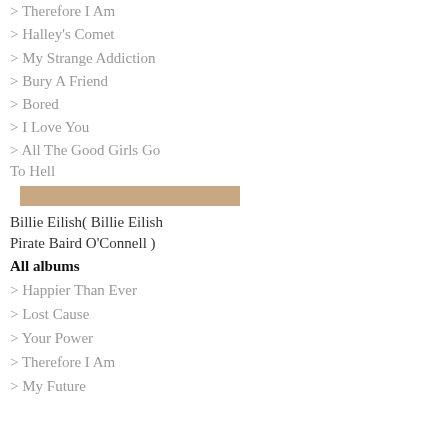> Therefore I Am
> Halley's Comet
> My Strange Addiction
> Bury A Friend
> Bored
> I Love You
> All The Good Girls Go To Hell
[Figure (other): Tan/beige horizontal divider bar]
Billie Eilish( Billie Eilish Pirate Baird O'Connell )
All albums
> Happier Than Ever
> Lost Cause
> Your Power
> Therefore I Am
> My Future